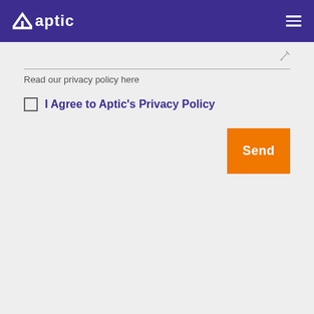aptic
Read our privacy policy here
I Agree to Aptic's Privacy Policy
Send